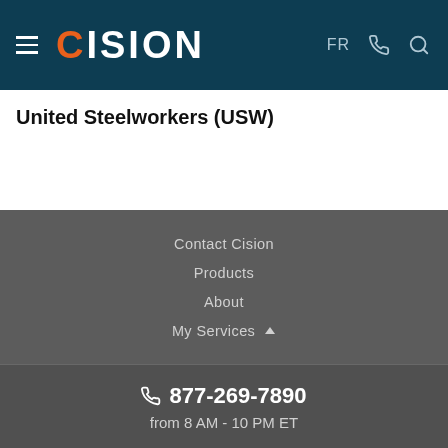CISION — FR (header navigation)
United Steelworkers (USW)
Contact Cision
Products
About
My Services
877-269-7890
from 8 AM - 10 PM ET
Terms of Use | Information Security Policy | Site Map | Cookie Settings
Accessibility Statement
Copyright © 2022 CNW Group Ltd. All Rights Reserved. A Cision company